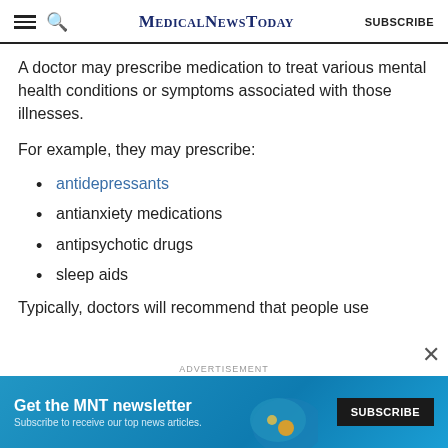MedicalNewsToday SUBSCRIBE
A doctor may prescribe medication to treat various mental health conditions or symptoms associated with those illnesses.
For example, they may prescribe:
antidepressants
antianxiety medications
antipsychotic drugs
sleep aids
Typically, doctors will recommend that people use
[Figure (infographic): MNT newsletter advertisement banner with blue background. Text reads: Get the MNT newsletter. Subscribe to receive our top news articles. SUBSCRIBE button on right.]